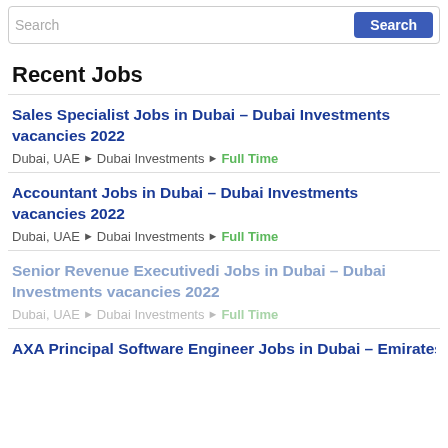Search
Recent Jobs
Sales Specialist Jobs in Dubai – Dubai Investments vacancies 2022
Dubai, UAE ▸ Dubai Investments ▸ Full Time
Accountant Jobs in Dubai – Dubai Investments vacancies 2022
Dubai, UAE ▸ Dubai Investments ▸ Full Time
Senior Revenue Executivedi Jobs in Dubai – Dubai Investments vacancies 2022
Dubai, UAE ▸ Dubai Investments ▸ Full Time
AXA Principal Software Engineer Jobs in Dubai – Emirates...